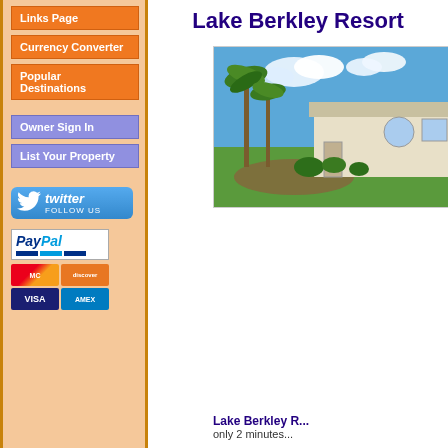Links Page
Currency Converter
Popular Destinations
Owner Sign In
List Your Property
[Figure (logo): Twitter Follow Us button with bird icon]
[Figure (logo): PayPal payment logo with colored bars]
[Figure (logo): Credit card logos: MasterCard, Discover, Visa, AMEX]
Lake Berkley Resort
[Figure (photo): Exterior photo of Lake Berkley Resort property with palm trees, house, and landscaped yard under blue sky]
Lake Berkley R... only 2 minutes...